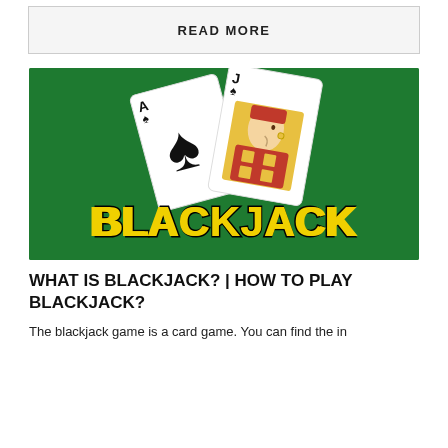READ MORE
[Figure (illustration): Blackjack card game illustration showing an Ace of Spades and Jack of Spades playing cards on a green background with the word BLACKJACK in large gold letters]
WHAT IS BLACKJACK? | HOW TO PLAY BLACKJACK?
The blackjack game is a card game. You can find the in